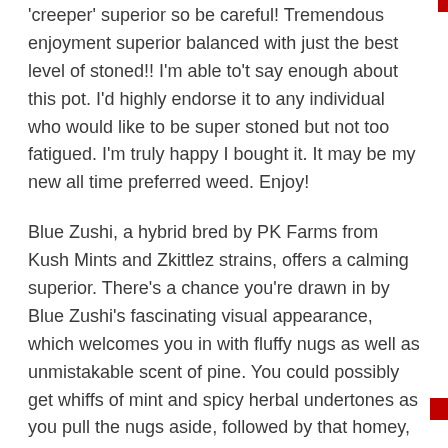'creeper' superior so be careful! Tremendous enjoyment superior balanced with just the best level of stoned!! I'm able to't say enough about this pot. I'd highly endorse it to any individual who would like to be super stoned but not too fatigued. I'm truly happy I bought it. It may be my new all time preferred weed. Enjoy!
Blue Zushi, a hybrid bred by PK Farms from Kush Mints and Zkittlez strains, offers a calming superior. There's a chance you're drawn in by Blue Zushi's fascinating visual appearance, which welcomes you in with fluffy nugs as well as unmistakable scent of pine. You could possibly get whiffs of mint and spicy herbal undertones as you pull the nugs aside, followed by that homey, wintry pine.
The buds were beautifully trimmed and experienced all the bag attraction you can want, incredible lime gre...